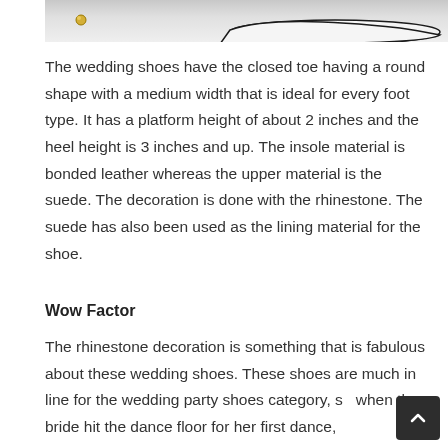[Figure (photo): Partial photo of white wedding shoes with rhinestone decoration on a light background, showing the toe and heel area.]
The wedding shoes have the closed toe having a round shape with a medium width that is ideal for every foot type. It has a platform height of about 2 inches and the heel height is 3 inches and up. The insole material is bonded leather whereas the upper material is the suede. The decoration is done with the rhinestone. The suede has also been used as the lining material for the shoe.
Wow Factor
The rhinestone decoration is something that is fabulous about these wedding shoes. These shoes are much in line for the wedding party shoes category, so when the bride hit the dance floor for her first dance, those just look pretty awesome.